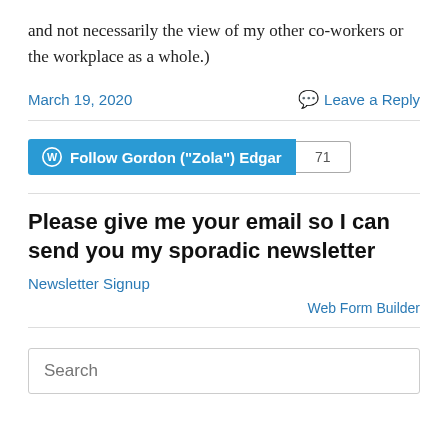and not necessarily the view of my other co-workers or the workplace as a whole.)
March 19, 2020
Leave a Reply
[Figure (other): WordPress Follow button for Gordon ("Zola") Edgar with follower count 71]
Please give me your email so I can send you my sporadic newsletter
Newsletter Signup
Web Form Builder
Search